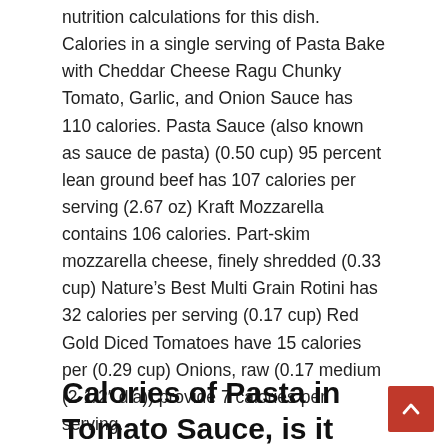nutrition calculations for this dish. Calories in a single serving of Pasta Bake with Cheddar Cheese Ragu Chunky Tomato, Garlic, and Onion Sauce has 110 calories. Pasta Sauce (also known as sauce de pasta) (0.50 cup) 95 percent lean ground beef has 107 calories per serving (2.67 oz) Kraft Mozzarella contains 106 calories. Part-skim mozzarella cheese, finely shredded (0.33 cup) Nature's Best Multi Grain Rotini has 32 calories per serving (0.17 cup) Red Gold Diced Tomatoes have 15 calories per (0.29 cup) Onions, raw (0.17 medium (2-1/2″ dia)) provide 7 calories per serving.
Calories of Pasta in Tomato Sauce, is it